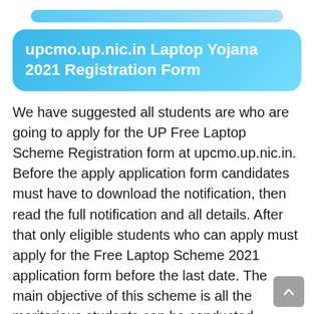[Figure (other): Light blue rounded pill/bar decorative element at the top of the page]
upcmo.up.nic.in Laptop Yojana 2021 Registration Form
We have suggested all students are who are going to apply for the UP Free Laptop Scheme Registration form at upcmo.up.nic.in. Before the apply application form candidates must have to download the notification, then read the full notification and all details. After that only eligible students who can apply must apply for the Free Laptop Scheme 2021 application form before the last date. The main objective of this scheme is all the meritorious students can be conducted